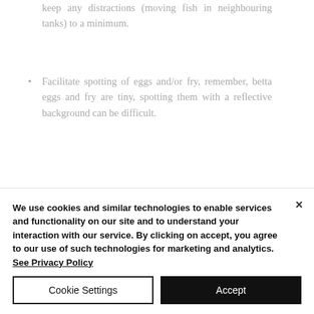Keep any distractions (moving fish in neighbouring tanks) to a minimum.
Facilitate spotting of eggs and/or fry, remember, betta eggs and fry are tiny, spotting them with a reflective background can be difficult.
Location for Setting up the Tank
We use cookies and similar technologies to enable services and functionality on our site and to understand your interaction with our service. By clicking on accept, you agree to our use of such technologies for marketing and analytics. See Privacy Policy
Cookie Settings
Accept